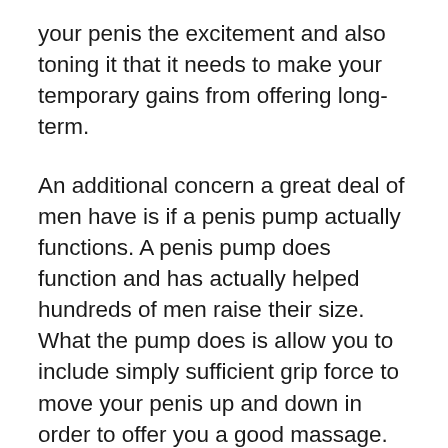your penis the excitement and also toning it that it needs to make your temporary gains from offering long-term.
An additional concern a great deal of men have is if a penis pump actually functions. A penis pump does function and has actually helped hundreds of men raise their size. What the pump does is allow you to include simply sufficient grip force to move your penis up and down in order to offer you a good massage. The added blood that is being pumped into your penis by the pump then takes a trip up the shaft of your penis, and also the chambers beneath it. This allows the cells in the penis to multiply significantly, producing enormous amounts of cells that will eventually be deposited in